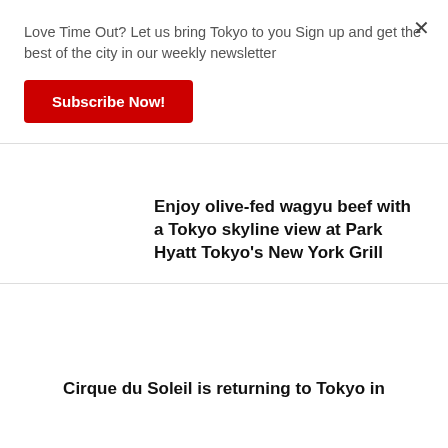Love Time Out? Let us bring Tokyo to you Sign up and get the best of the city in our weekly newsletter
Subscribe Now!
×
Enjoy olive-fed wagyu beef with a Tokyo skyline view at Park Hyatt Tokyo's New York Grill
Cirque du Soleil is returning to Tokyo in